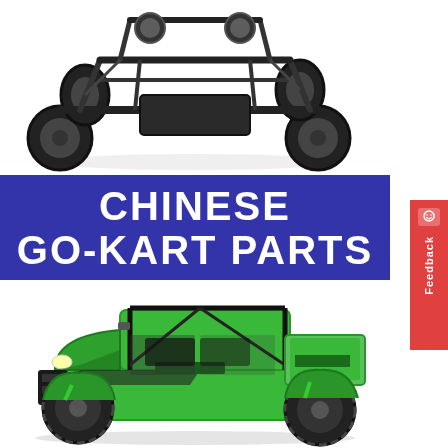[Figure (photo): Black open-frame go-kart / dune buggy vehicle with large off-road tires, viewed from a front-angled perspective on white background]
CHINESE GO-KART PARTS
[Figure (photo): Green and black Arctic Cat Prowler side-by-side utility vehicle (UTV) with roll cage, viewed from front-right angle on white background]
Feedback